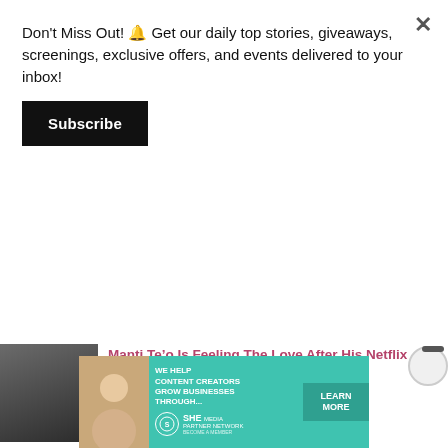Don't Miss Out! 🔔 Get our daily top stories, giveaways, screenings, exclusive offers, and events delivered to your inbox!
Subscribe
Manti Te'o Is Feeling The Love After His Netflix Documentary Airs
5 Days Ago
[Figure (photo): Advertisement banner: teal background, woman with laptop, SHE Media Partner Network logo, Learn More button]